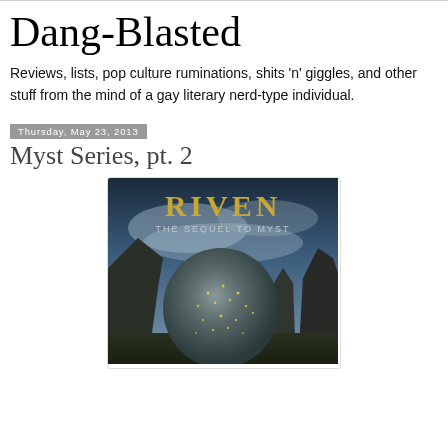Dang-Blasted
Reviews, lists, pop culture ruminations, shits 'n' giggles, and other stuff from the mind of a gay literary nerd-type individual.
Thursday, May 23, 2013
Myst Series, pt. 2
[Figure (photo): Book cover for 'Riven: The Sequel to Myst' featuring large gold text 'RIVEN' above 'THE SEQUEL TO MYST' with a large textured spherical object in a dramatic rocky landscape with cloudy sky]